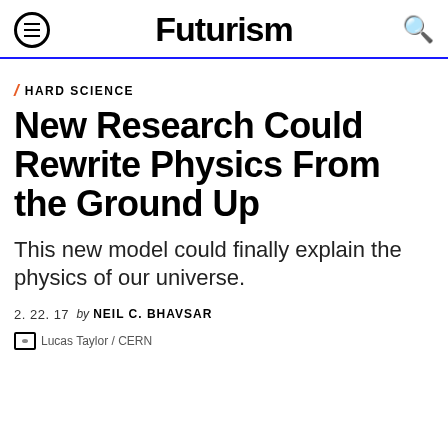Futurism
HARD SCIENCE
New Research Could Rewrite Physics From the Ground Up
This new model could finally explain the physics of our universe.
2. 22. 17 by NEIL C. BHAVSAR
Lucas Taylor / CERN